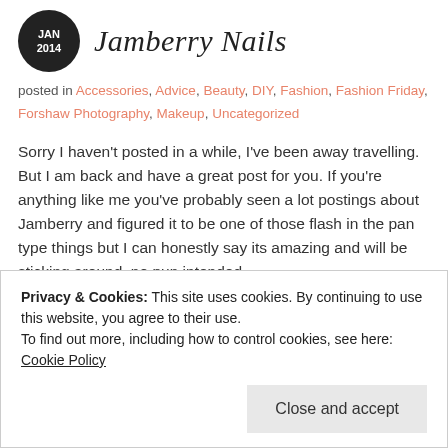Jamberry Nails
posted in Accessories, Advice, Beauty, DIY, Fashion, Fashion Friday, Forshaw Photography, Makeup, Uncategorized
Sorry I haven't posted in a while, I've been away travelling. But I am back and have a great post for you. If you're anything like me you've probably seen a lot postings about Jamberry and figured it to be one of those flash in the pan type things but I can honestly say its amazing and will be sticking around, no pun intended.
My dear friend Katelyn McWilliams sent me a sample, and I went into this experiment without any bias or preconceived notions because I want to be 100% honest with my readers. Well here is my honest
Privacy & Cookies: This site uses cookies. By continuing to use this website, you agree to their use.
To find out more, including how to control cookies, see here: Cookie Policy
Close and accept